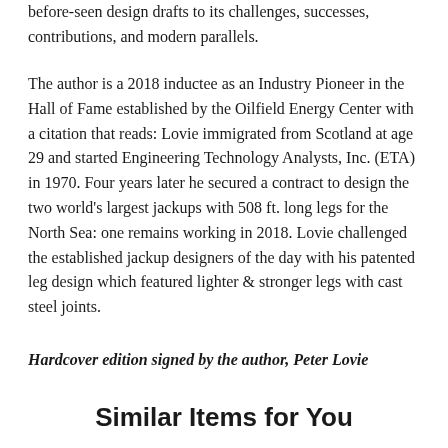before-seen design drafts to its challenges, successes, contributions, and modern parallels.
The author is a 2018 inductee as an Industry Pioneer in the Hall of Fame established by the Oilfield Energy Center with a citation that reads: Lovie immigrated from Scotland at age 29 and started Engineering Technology Analysts, Inc. (ETA) in 1970. Four years later he secured a contract to design the two world's largest jackups with 508 ft. long legs for the North Sea: one remains working in 2018. Lovie challenged the established jackup designers of the day with his patented leg design which featured lighter & stronger legs with cast steel joints.
Hardcover edition signed by the author, Peter Lovie
Similar Items for You